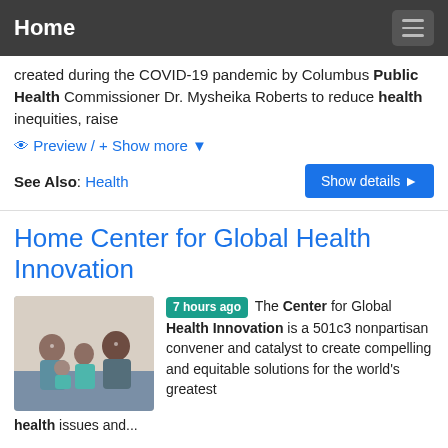Home
created during the COVID-19 pandemic by Columbus Public Health Commissioner Dr. Mysheika Roberts to reduce health inequities, raise
Preview / + Show more
See Also: Health
Home Center for Global Health Innovation
[Figure (photo): Family photo showing adults and a child sitting together, smiling]
7 hours ago The Center for Global Health Innovation is a 501c3 nonpartisan convener and catalyst to create compelling and equitable solutions for the world's greatest
health issues and...